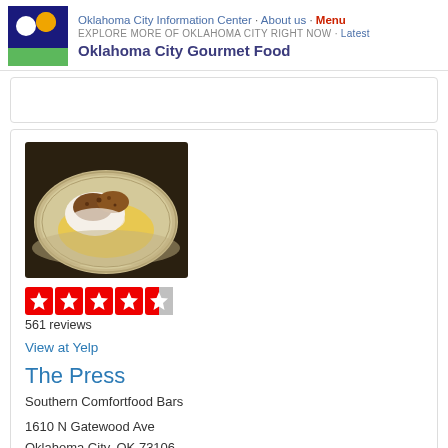Oklahoma City Information Center · About us · Menu
EXPLORE MORE OF OKLAHOMA CITY RIGHT NOW · Latest
Oklahoma City Gourmet Food
...
[Figure (photo): A plate of southern comfort food — fried items topped with white gravy on a ceramic plate]
561 reviews
View at Yelp
The Press
Southern Comfortfood Bars
1610 N Gatewood Ave
Oklahoma City, OK 73106